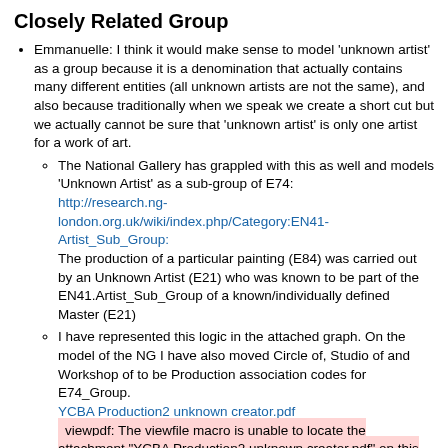Closely Related Group
Emmanuelle: I think it would make sense to model 'unknown artist' as a group because it is a denomination that actually contains many different entities (all unknown artists are not the same), and also because traditionally when we speak we create a short cut but we actually cannot be sure that 'unknown artist' is only one artist for a work of art.
The National Gallery has grappled with this as well and models 'Unknown Artist' as a sub-group of E74: http://research.ng-london.org.uk/wiki/index.php/Category:EN41-Artist_Sub_Group: The production of a particular painting (E84) was carried out by an Unknown Artist (E21) who was known to be part of the EN41.Artist_Sub_Group of a known/individually defined Master (E21)
I have represented this logic in the attached graph. On the model of the NG I have also moved Circle of, Studio of and Workshop of to be Production association codes for E74_Group. YCBA Production2 unknown creator.pdf viewpdf: The viewfile macro is unable to locate the attachment "YCBA Production2 unknown creator.pdf" on this page
Vlado: this closely follows BM Association Mapping